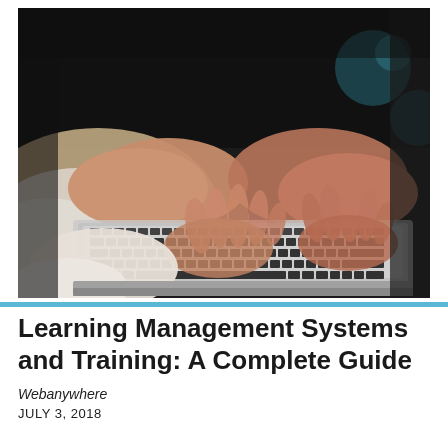[Figure (photo): Close-up photograph of two hands typing on a laptop keyboard, wearing a light-colored sleeve, dark background with bokeh.]
Learning Management Systems and Training: A Complete Guide
Webanywhere
JULY 3, 2018